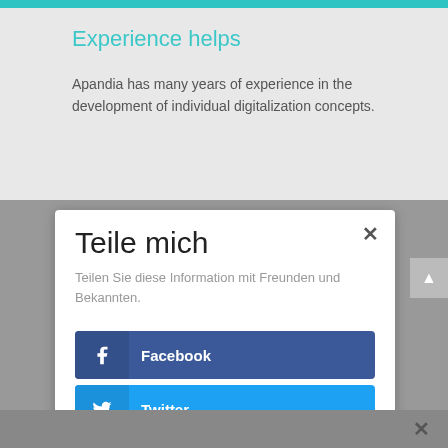Experience helps
Apandia has many years of experience in the development of individual digitalization concepts.
Teile mich
Teilen Sie diese Information mit Freunden und Bekannten.
Facebook
Twitter
LinkedIn
Blogger